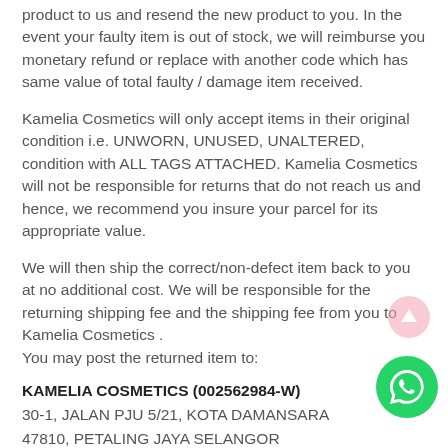product to us and resend the new product to you. In the event your faulty item is out of stock, we will reimburse you monetary refund or replace with another code which has same value of total faulty / damage item received.
Kamelia Cosmetics will only accept items in their original condition i.e. UNWORN, UNUSED, UNALTERED, condition with ALL TAGS ATTACHED. Kamelia Cosmetics will not be responsible for returns that do not reach us and hence, we recommend you insure your parcel for its appropriate value.
We will then ship the correct/non-defect item back to you at no additional cost. We will be responsible for the returning shipping fee and the shipping fee from you to Kamelia Cosmetics .
You may post the returned item to:
KAMELIA COSMETICS (002562984-W)
30-1, JALAN PJU 5/21, KOTA DAMANSARA
47810, PETALING JAYA SELANGOR
PHONE: +6019-2996848